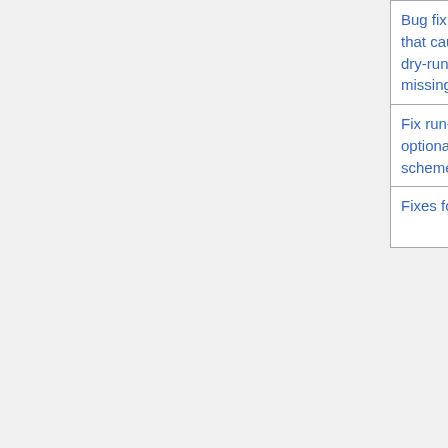| Description | Who | Type | Notes |
| --- | --- | --- | --- |
| Bug fix: Fixed a lingering issue that caused the GEOS-Chem dry-run not to recognize missing files [ext] | Bob Yantosca (GCST) | Bug fix |  |
| Fix run-time error when optional Luo wet deposition scheme is turned on [ext] | Lizzie Lundgren (GCST) | Bug fix |  |
| Fixes for interpolating | Jenny Fisher (Wollongong) | Bug fix | Th... |